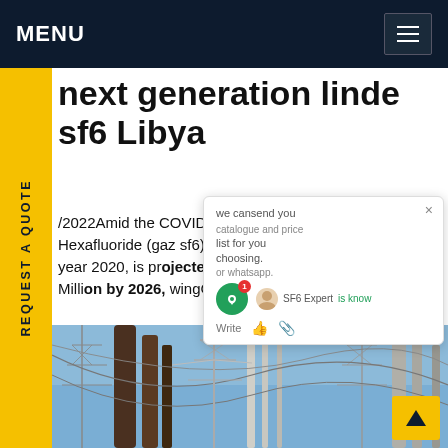MENU
next generation linde sf6 Libya
/2022Amid the COVID-19 crisis, the global market Sulfur Hexafluoride (gaz sf6) estimated at 195.8 Million in the year 2020, is projected to ch a revised size of US$277.4 Million by 2026, wingGet price
[Figure (photo): Electrical power substation with high-voltage transmission towers and cables against a blue sky]
we cansend you catalogue and price list for you choosing. or whatsapp. SF6 Expert is know Write